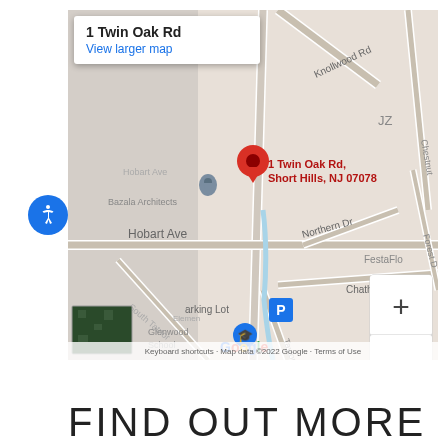[Figure (map): Google Maps embed showing 1 Twin Oak Rd, Short Hills, NJ 07078 with a red location pin. Map shows surrounding streets including Knollwood Rd, Taylor Rd, Hobart Ave, Northern Dr, Chatham Rd, and nearby landmarks like Bazala Architects, Glenwood School. Includes Google logo, zoom controls, accessibility button, satellite thumbnail, and footer text 'Keyboard shortcuts · Map data ©2022 Google · Terms of Use'.]
1 Twin Oak Rd
View larger map
FIND OUT MORE